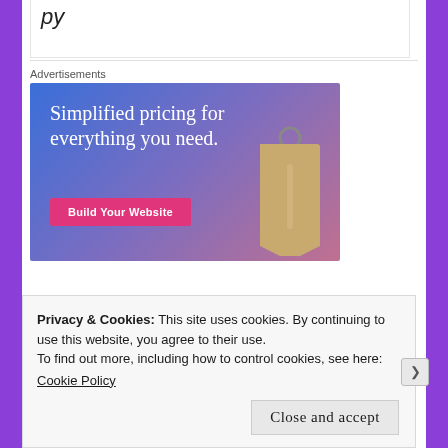Advertisements
[Figure (illustration): Advertisement banner with gradient blue-purple-pink background showing 'Simplified pricing for everything you need.' with a 'Build Your Website' pink button and a tan price tag illustration on the right]
Privacy & Cookies: This site uses cookies. By continuing to use this website, you agree to their use.
To find out more, including how to control cookies, see here:
Cookie Policy
Close and accept